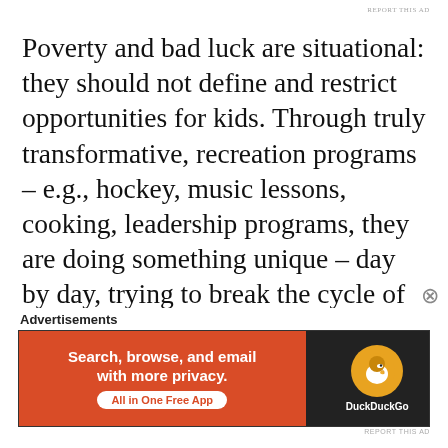REPORT THIS AD
Poverty and bad luck are situational: they should not define and restrict opportunities for kids. Through truly transformative, recreation programs – e.g., hockey, music lessons, cooking, leadership programs, they are doing something unique – day by day, trying to break the cycle of poverty firmly entrenched here in Ottawa and empower children to change the direction of their lives.
Advertisements
[Figure (screenshot): DuckDuckGo advertisement banner with orange left side reading 'Search, browse, and email with more privacy. All in One Free App' and dark right side with DuckDuckGo duck logo]